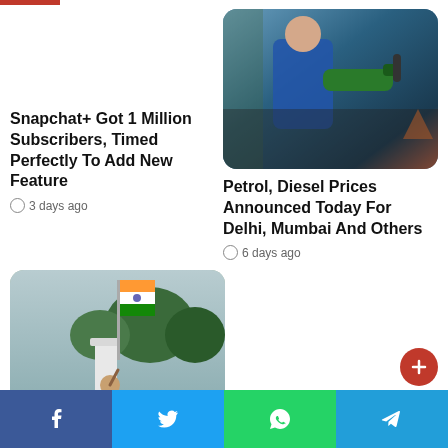[Figure (photo): Red accent bar at top left of page]
[Figure (photo): Person in blue jacket holding green fuel pump nozzle at a petrol station]
Snapchat+ Got 1 Million Subscribers, Timed Perfectly To Add New Feature
3 days ago
Petrol, Diesel Prices Announced Today For Delhi, Mumbai And Others
6 days ago
[Figure (photo): Person raising Indian flag on a pole with trees in background]
Facebook | Twitter | WhatsApp | Telegram social share bar